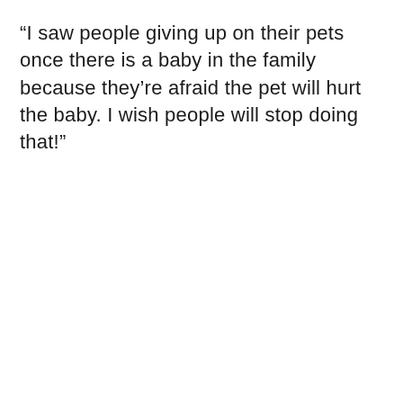“I saw people giving up on their pets once there is a baby in the family because they’re afraid the pet will hurt the baby. I wish people will stop doing that!”